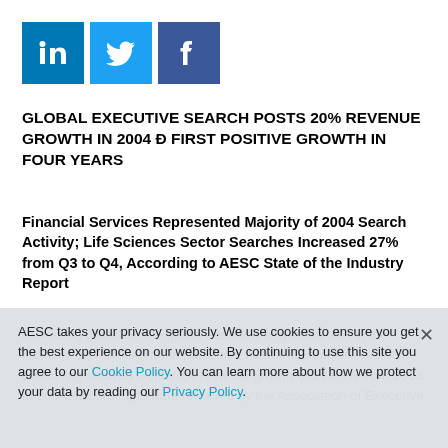[Figure (other): Three social media share buttons: LinkedIn (blue), Twitter (light blue), Facebook (dark blue)]
GLOBAL EXECUTIVE SEARCH POSTS 20% REVENUE GROWTH IN 2004 Ð FIRST POSITIVE GROWTH IN FOUR YEARS
Financial Services Represented Majority of 2004 Search Activity; Life Sciences Sector Searches Increased 27% from Q3 to Q4, According to AESC State of the Industry Report
Reflecting growth in the global economy in general and in the financial services sector in particular, retained executive search consulting showed worldwide revenue growth of 19.73% from 2003 to 2004, according to data released by the Association of Executive
AESC takes your privacy seriously. We use cookies to ensure you get the best experience on our website. By continuing to use this site you agree to our Cookie Policy. You can learn more about how we protect your data by reading our Privacy Policy.